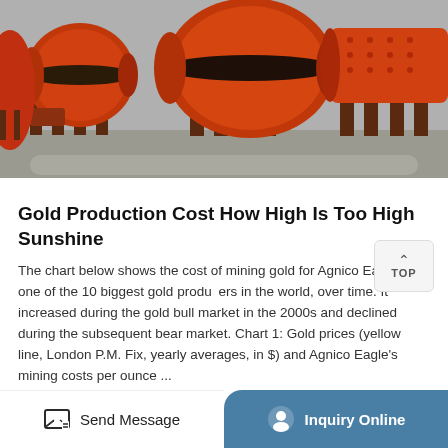[Figure (photo): Orange industrial mining ball mill machines on stands in an outdoor yard]
Gold Production Cost How High Is Too High Sunshine
The chart below shows the cost of mining gold for Agnico Eagle, one of the 10 biggest gold producers in the world, over time. It increased during the gold bull market in the 2000s and declined during the subsequent bear market. Chart 1: Gold prices (yellow line, London P.M. Fix, yearly averages, in $) and Agnico Eagle's mining costs per ounce ...
Read More »»
Send Message | Inquiry Online